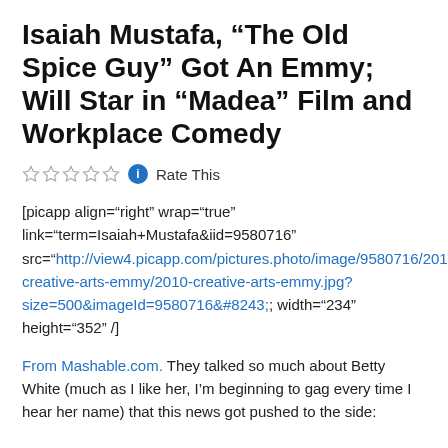Isaiah Mustafa, "The Old Spice Guy" Got An Emmy; Will Star in “Madea” Film and Workplace Comedy
☆☆☆☆☆ ⓘ Rate This
[picapp align="right" wrap="true" link="term=Isaiah+Mustafa&iid=9580716" src="http://view4.picapp.com/pictures.photo/image/9580716/2010-creative-arts-emmy/2010-creative-arts-emmy.jpg?size=500&imageId=9580716&#8243; width="234" height="352" /]
From Mashable.com. They talked so much about Betty White (much as I like her, I’m beginning to gag every time I hear her name) that this news got pushed to the side: